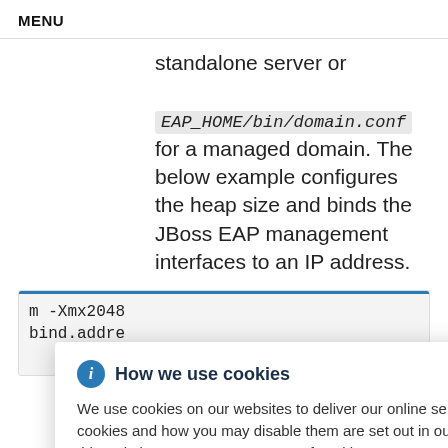MENU
standalone server or EAP_HOME/bin/domain.conf for a managed domain. The below example configures the heap size and binds the JBoss EAP management interfaces to an IP address.
[Figure (screenshot): Code box showing partial code with -Xmx2048 and bind.addre visible]
How we use cookies
We use cookies on our websites to deliver our online services. Details about how we use cookies and how you may disable them are set out in our Privacy Statement. By using this website you agree to our use of cookies.